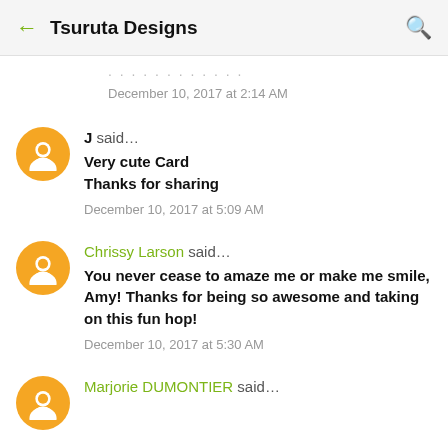Tsuruta Designs
December 10, 2017 at 2:14 AM
J said...
Very cute Card
Thanks for sharing
December 10, 2017 at 5:09 AM
Chrissy Larson said...
You never cease to amaze me or make me smile, Amy! Thanks for being so awesome and taking on this fun hop!
December 10, 2017 at 5:30 AM
Marjorie DUMONTIER said...